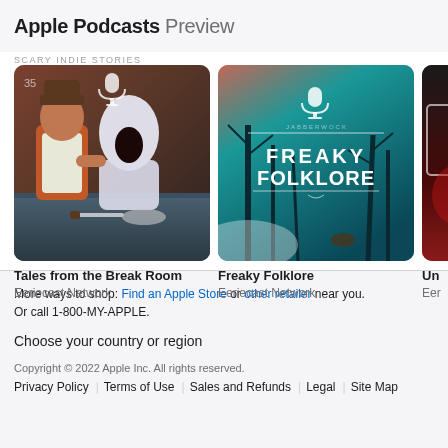Apple Podcasts Preview
[Figure (illustration): Podcast artwork for 'Tales from the Break Room' showing an illustrated horror scene with a ghoul figure and ghost at a table with a knife and plate.]
Tales from the Break Room
Eeriecast Network
[Figure (illustration): Podcast artwork for 'Freaky Folklore' with teal/dark forest background and white text 'FREAKY FOLKLORE' in the center.]
Freaky Folklore
Eeriecast Network
[Figure (illustration): Partially visible podcast artwork — third card cut off showing dark red tones. Title starts with 'Un', author starts with 'Eer'.]
Un
Eer
More ways to shop: Find an Apple Store or other retailer near you. Or call 1-800-MY-APPLE.

Choose your country or region

Copyright © 2022 Apple Inc. All rights reserved.
Privacy Policy | Terms of Use | Sales and Refunds | Legal | Site Map